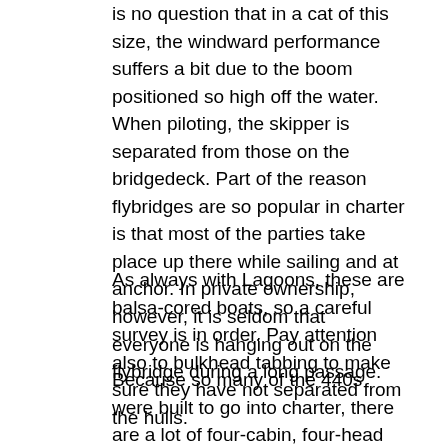is no question that in a cat of this size, the windward performance suffers a bit due to the boom positioned so high off the water. When piloting, the skipper is separated from those on the bridgedeck. Part of the reason flybridges are so popular in charter is that most of the parties take place up there while sailing and at anchor. In private ownership, however, it is seldom that everyone is hanging out on the flybridge during a long passage.
As always with Lagoons, these are balsa-cored boats, so a careful survey is in order. Pay attention also to bulkhead tabbing to make sure they have not separated from the hulls.
Because so many of the 440s were built to go into charter, there are a lot of four-cabin, four-head models for resale. These will sell for considerably less on the brokerage market than a coveted three-cabin, private-owner